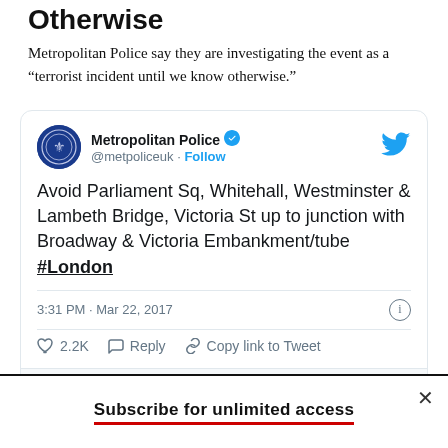Otherwise
Metropolitan Police say they are investigating the event as a "terrorist incident until we know otherwise."
[Figure (screenshot): Embedded tweet from @metpoliceuk (Metropolitan Police) with verified badge and Twitter bird logo. Tweet text: 'Avoid Parliament Sq, Whitehall, Westminster & Lambeth Bridge, Victoria St up to junction with Broadway & Victoria Embankment/tube #London'. Timestamp: 3:31 PM · Mar 22, 2017. 2.2K likes. Actions: Reply, Copy link to Tweet. Button: Read 86 replies.]
Subscribe for unlimited access